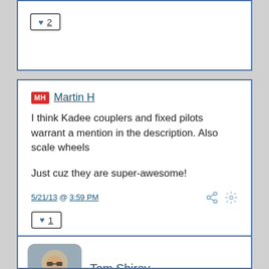[Figure (other): Like button with heart icon and count 2 inside a rounded rectangle border]
MH Martin H
I think Kadee couplers and fixed pilots warrant a mention in the description.  Also scale wheels

Just cuz they are super-awesome!

5/21/13 @ 3:59 PM
[Figure (other): Like button with heart icon and count 1 inside a rounded rectangle border]
[Figure (photo): Profile photo of a person wearing sunglasses and white shirt]
Tom Shirey